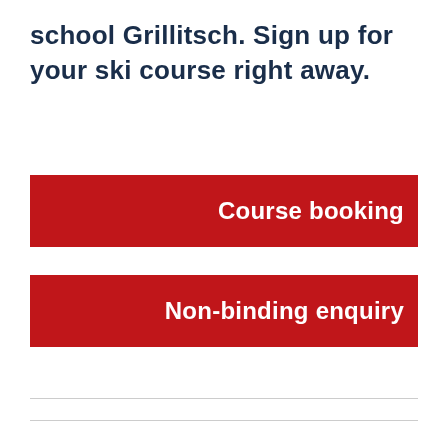school Grillitsch. Sign up for your ski course right away.
Course booking
Non-binding enquiry